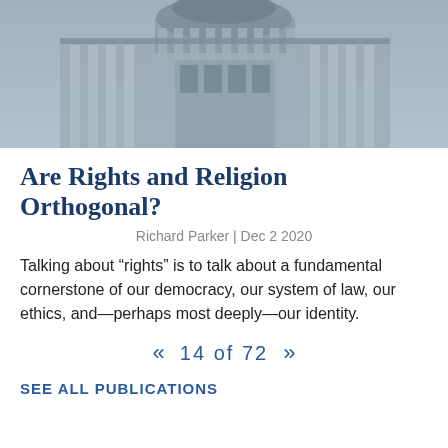[Figure (photo): Black and white photo of a classical government building with columns and a dome, viewed from below at an angle against a light blue-grey sky.]
Are Rights and Religion Orthogonal?
Richard Parker | Dec 2 2020
Talking about “rights” is to talk about a fundamental cornerstone of our democracy, our system of law, our ethics, and—perhaps most deeply—our identity.
«  14 of 72  »
SEE ALL PUBLICATIONS